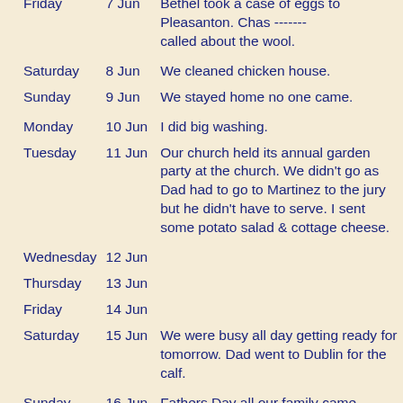| Day | Date | Entry |
| --- | --- | --- |
| Friday | 7 Jun | Bethel took a case of eggs to Pleasanton. Chas ------- called about the wool. |
| Saturday | 8 Jun | We cleaned chicken house. |
| Sunday | 9 Jun | We stayed home no one came. |
| Monday | 10 Jun | I did big washing. |
| Tuesday | 11 Jun | Our church held its annual garden party at the church. We didn't go as Dad had to go to Martinez to the jury but he didn't have to serve. I sent some potato salad & cottage cheese. |
| Wednesday | 12 Jun |  |
| Thursday | 13 Jun |  |
| Friday | 14 Jun |  |
| Saturday | 15 Jun | We were busy all day getting ready for tomorrow. Dad went to Dublin for the calf. |
| Sunday | 16 Jun | Fathers Day all our family came except Doris D., Marcia and their families. |